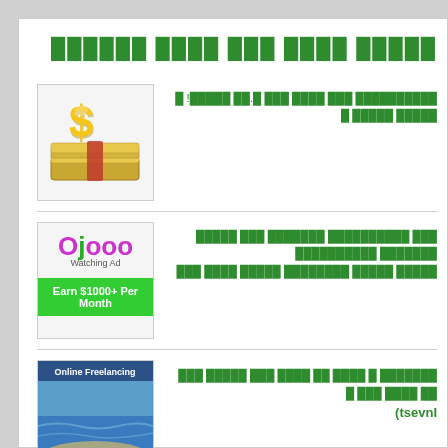█████ ████ ███ ████ ██████
[Figure (illustration): Gold dollar sign on stacks of cash/money bills]
██████████ ███ ████ ███ █.██ █████! █ █████ █████ █
[Figure (logo): Ojooo Watching Ad logo with green eye, purple text, and green 'Earn $1000+ Per Month' button]
███ ██████████ ███████ ███ █████ ███████ ██████████ █████ █████ ████████ █████ ████ ███
[Figure (photo): Online Freelancing banner with beach/ocean background]
███████ █ ████ ██ ████ ███ █████ ███ ██ ████ ███ █ (Invest)